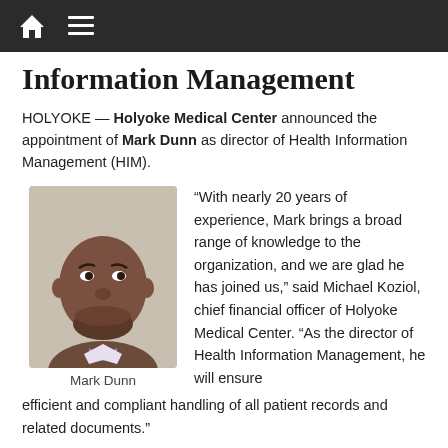Navigation bar with home and menu icons
Information Management
HOLYOKE — Holyoke Medical Center announced the appointment of Mark Dunn as director of Health Information Management (HIM).
[Figure (photo): Headshot photo of Mark Dunn, a smiling man wearing a bow tie]
Mark Dunn
“With nearly 20 years of experience, Mark brings a broad range of knowledge to the organization, and we are glad he has joined us,” said Michael Koziol, chief financial officer of Holyoke Medical Center. “As the director of Health Information Management, he will ensure efficient and compliant handling of all patient records and related documents.”